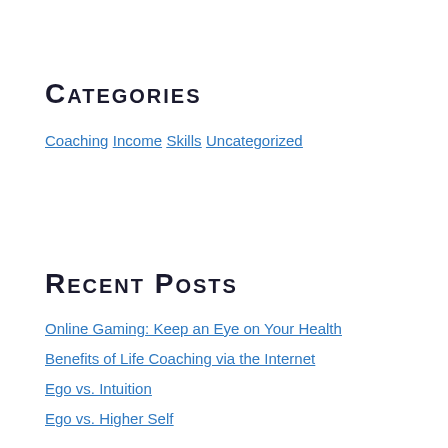Categories
Coaching
Income
Skills
Uncategorized
Recent Posts
Online Gaming: Keep an Eye on Your Health
Benefits of Life Coaching via the Internet
Ego vs. Intuition
Ego vs. Higher Self